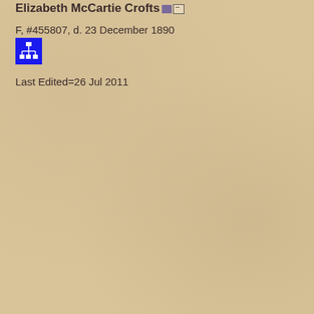Elizabeth McCartie Crofts
F, #455807, d. 23 December 1890
[Figure (other): Blue icon with network/hierarchy diagram symbol]
Last Edited=26 Jul 2011